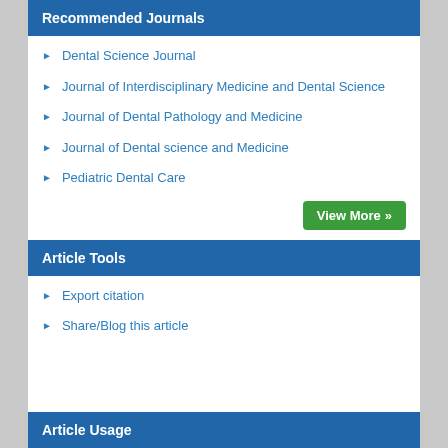Recommended Journals
Dental Science Journal
Journal of Interdisciplinary Medicine and Dental Science
Journal of Dental Pathology and Medicine
Journal of Dental science and Medicine
Pediatric Dental Care
View More »
Article Tools
Export citation
Share/Blog this article
Article Usage